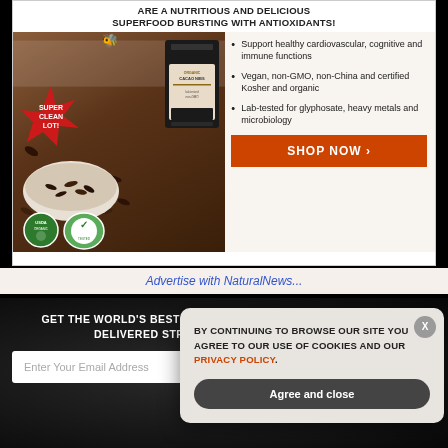[Figure (photo): Advertisement for Organic Cacao Nibs product — showing a bag of cacao nibs, a bowl of cacao nibs, USDA Organic and Glyphosate Tested certifications, a 'SUPER CLEAN LOT!' badge, and a bee mascot. Headline reads 'ARE A NUTRITIOUS AND DELICIOUS SUPERFOOD BURSTING WITH ANTIOXIDANTS!' with bullet points listing health benefits and a 'SHOP NOW >' orange button.]
Advertise with NaturalNews...
GET THE WORLD'S BEST NATURAL HEALTH NEWSLETTER DELIVERED STRAIGHT TO YOUR INBOX
Enter Your Email Address
SUBSCRIBE
BY CONTINUING TO BROWSE OUR SITE YOU AGREE TO OUR USE OF COOKIES AND OUR PRIVACY POLICY.
Agree and close